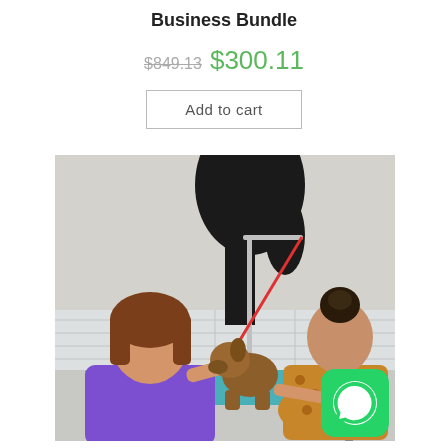Business Bundle
$849.13 $300.11
Add to cart
[Figure (photo): Two women grooming a small brown terrier dog on a teal grooming table in a salon. A large black dog is partially visible in the background. One woman wears a purple top, the other wears a leopard-print top. A red leash is attached to a chrome grooming arm.]